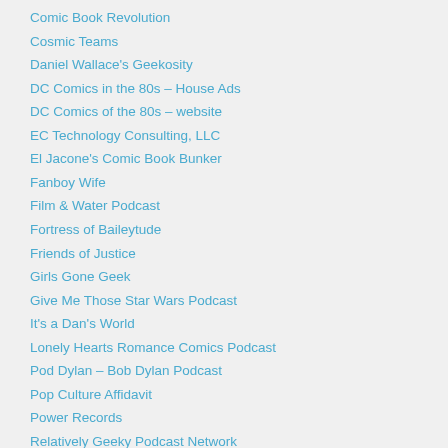Comic Book Revolution
Cosmic Teams
Daniel Wallace's Geekosity
DC Comics in the 80s – House Ads
DC Comics of the 80s – website
EC Technology Consulting, LLC
El Jacone's Comic Book Bunker
Fanboy Wife
Film & Water Podcast
Fortress of Baileytude
Friends of Justice
Girls Gone Geek
Give Me Those Star Wars Podcast
It's a Dan's World
Lonely Hearts Romance Comics Podcast
Pod Dylan – Bob Dylan Podcast
Pop Culture Affidavit
Power Records
Relatively Geeky Podcast Network
Sequential Reaction
Shirt of the Day
Siskoid's Blog of Geekery
Super Mates Podcast